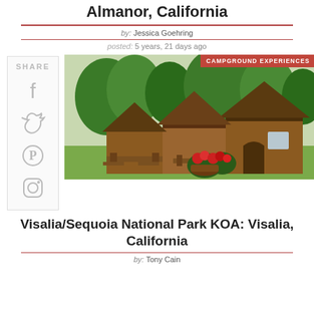Almanor, California
by: Jessica Goehring
posted: 5 years, 21 days ago
[Figure (photo): Row of wooden KOA camping cabins with arched roofs, picnic tables on green lawn, red flowers in foreground, trees in background. Badge: CAMPGROUND EXPERIENCES]
Visalia/Sequoia National Park KOA: Visalia, California
by: Tony Cain